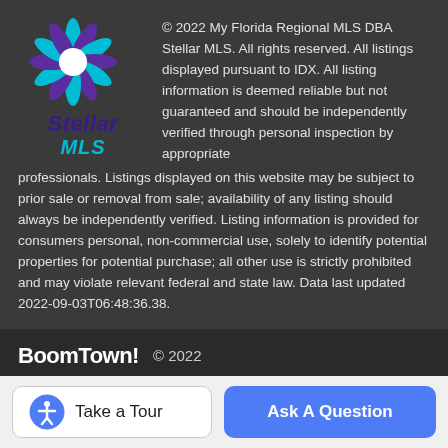[Figure (logo): Stellar MLS logo — snowflake/star design in teal and purple with 'Stellar MLS' wordmark]
© 2022 My Florida Regional MLS DBA Stellar MLS. All rights reserved. All listings displayed pursuant to IDX. All listing information is deemed reliable but not guaranteed and should be independently verified through personal inspection by appropriate professionals. Listings displayed on this website may be subject to prior sale or removal from sale; availability of any listing should always be independently verified. Listing information is provided for consumers personal, non-commercial use, solely to identify potential properties for potential purchase; all other use is strictly prohibited and may violate relevant federal and state law. Data last updated 2022-09-03T06:48:36.38.
[Figure (logo): BoomTown! logo in bold white text]
© 2022
Terms of Use | Privacy Policy | Accessibility | DMCA